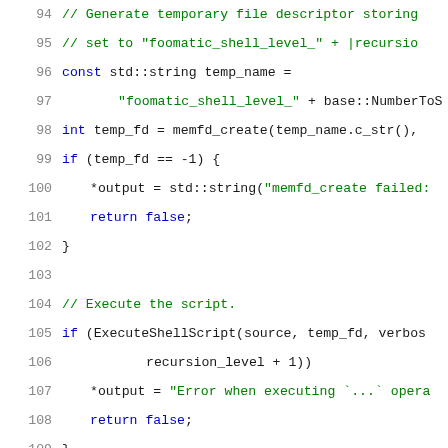[Figure (screenshot): Source code listing in C++ with syntax highlighting. Lines 94-115 showing code for generating a temporary file descriptor, executing a shell script, and reading generated output. Line numbers in gray on the left, comments in green, keywords in blue, strings in green, normal code in dark/black.]